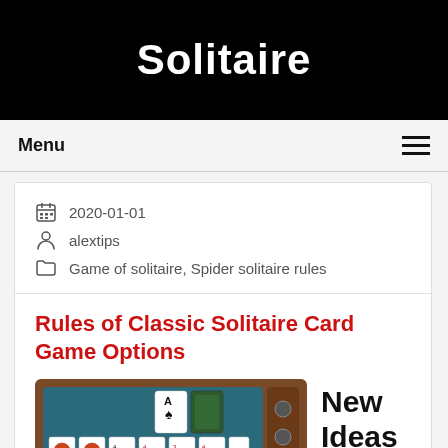Solitaire
Menu
2020-01-01
alextips
Game of solitaire, Spider solitaire rules
Rules of Classic Solitaire Card Game Options
[Figure (screenshot): Screenshot of a classic solitaire card game with playing cards arranged on a green felt table, showing columns of cards with spades visible at top.]
New Ideas